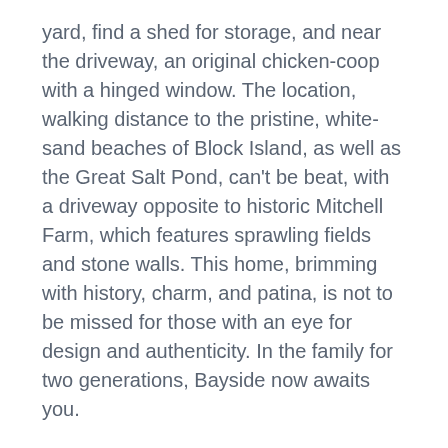yard, find a shed for storage, and near the driveway, an original chicken-coop with a hinged window. The location, walking distance to the pristine, white-sand beaches of Block Island, as well as the Great Salt Pond, can't be beat, with a driveway opposite to historic Mitchell Farm, which features sprawling fields and stone walls. This home, brimming with history, charm, and patina, is not to be missed for those with an eye for design and authenticity. In the family for two generations, Bayside now awaits you.
MLS #
1286996
Status:
Active
Type:
Single Family
Style: